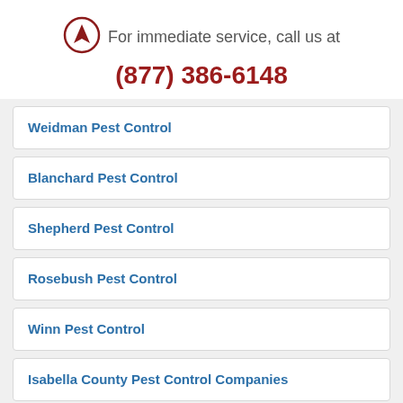[Figure (logo): Circular logo with an arrow/triangle pointing up, dark red border and icon]
For immediate service, call us at
(877) 386-6148
Weidman Pest Control
Blanchard Pest Control
Shepherd Pest Control
Rosebush Pest Control
Winn Pest Control
Isabella County Pest Control Companies